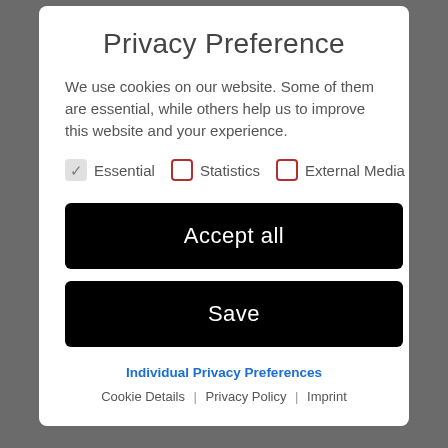Privacy Preference
We use cookies on our website. Some of them are essential, while others help us to improve this website and your experience.
Essential (checked), Statistics (unchecked), External Media (unchecked)
Accept all
Save
Individual Privacy Preferences
Cookie Details | Privacy Policy | Imprint
world.